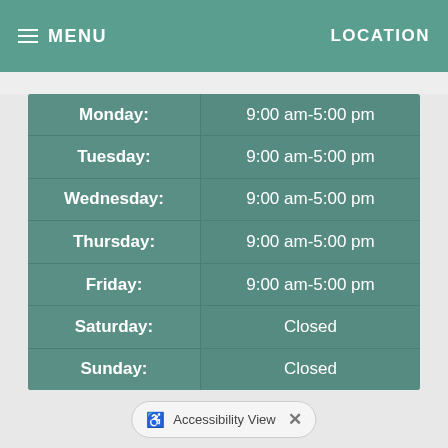MENU    LOCATION
| Day | Hours |
| --- | --- |
| Monday: | 9:00 am-5:00 pm |
| Tuesday: | 9:00 am-5:00 pm |
| Wednesday: | 9:00 am-5:00 pm |
| Thursday: | 9:00 am-5:00 pm |
| Friday: | 9:00 am-5:00 pm |
| Saturday: | Closed |
| Sunday: | Closed |
Accessibility View